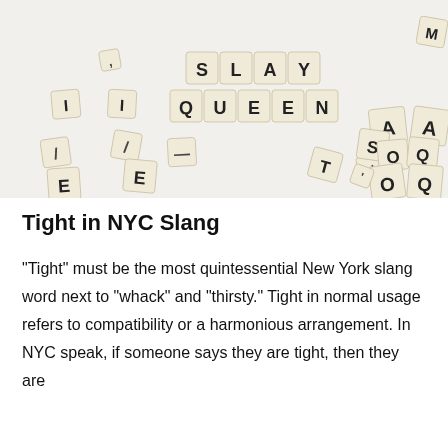[Figure (photo): Scrabble tiles scattered on a white surface, with two rows spelling out SLAY and QUEEN in the center. Other individual letter tiles (I, E, A, O, Q, S, T, M, etc.) are scattered around at various angles.]
Tight in NYC Slang
“Tight” must be the most quintessential New York slang word next to “whack” and “thirsty.” Tight in normal usage refers to compatibility or a harmonious arrangement. In NYC speak, if someone says they are tight, then they are